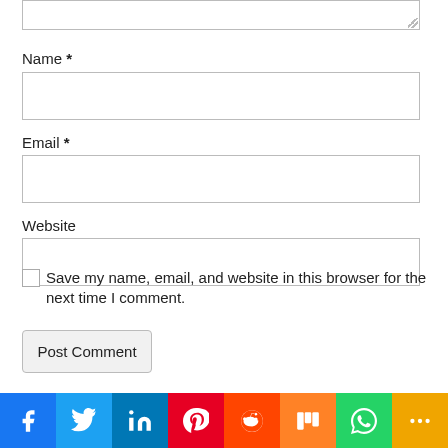Name *
Email *
Website
Save my name, email, and website in this browser for the next time I comment.
Post Comment
[Figure (other): Social sharing bar with icons for Facebook, Twitter, LinkedIn, Pinterest, Reddit, Mix, WhatsApp, and a share/more button]